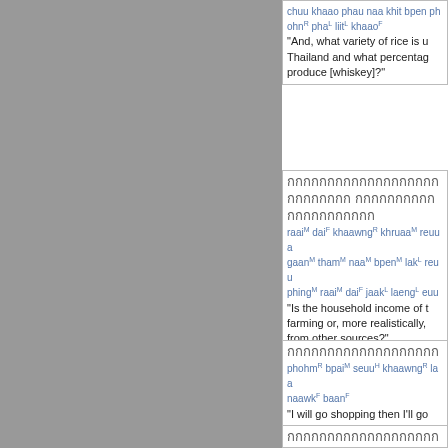chuu khaao phau naa khit bpen phohnR phaL liitL khaaoF "And, what variety of rice is used in Thailand and what percentage produce [whiskey]?"
Thai text block 2. raaiM daiF khaawngR khruaaM reuua gaanM thamM naaM bpenM lakL reuua phingM raaiM daiF jaakL laengL euuu "Is the household income of the farming or, more realistically, from other sources?"
Thai text block 3. phohmR bpaiM seuuH khaawngR laa naawkF baanF "I will go shopping then I'll go"
Thai text block 4 with quoted text.